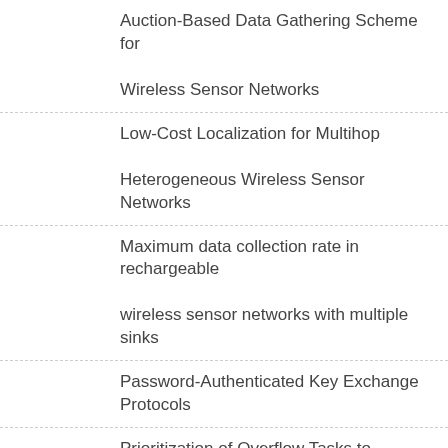Auction-Based Data Gathering Scheme for Wireless Sensor Networks
Low-Cost Localization for Multihop Heterogeneous Wireless Sensor Networks
Maximum data collection rate in rechargeable wireless sensor networks with multiple sinks
Password-Authenticated Key Exchange Protocols
Prioritization of Overflow Tasks to Improve Performance of Mobile Cloud
NACRP A Connectivity Protocol for Star Topology Wireless Sensor Networks